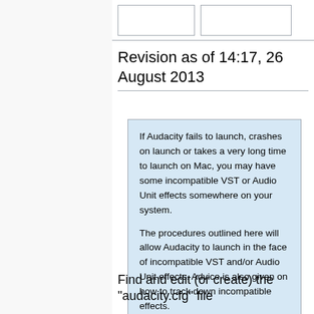[Figure (other): Two tab/button boxes in a top navigation bar area]
Revision as of 14:17, 26 August 2013
If Audacity fails to launch, crashes on launch or takes a very long time to launch on Mac, you may have some incompatible VST or Audio Unit effects somewhere on your system.

The procedures outlined here will allow Audacity to launch in the face of incompatible VST and/or Audio Unit effects. Advice is also given on how to track down incompatible effects.
Find and edit (or create) the "audacity.cfg" file